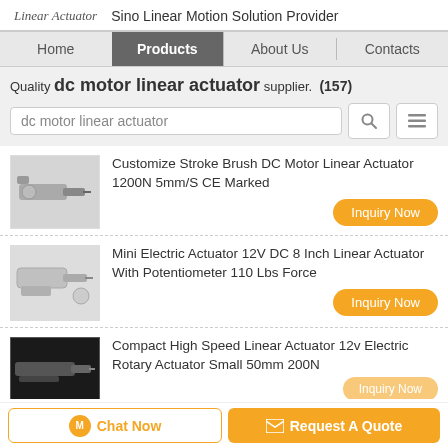Linear Actuator  Sino Linear Motion Solution Provider
Home | Products | About Us | Contacts
Quality dc motor linear actuator supplier. (157)
dc motor linear actuator
Customize Stroke Brush DC Motor Linear Actuator 1200N 5mm/S CE Marked
Inquiry Now
Mini Electric Actuator 12V DC 8 Inch Linear Actuator With Potentiometer 110 Lbs Force
Inquiry Now
Compact High Speed Linear Actuator 12v Electric Rotary Actuator Small 50mm 200N
Chat Now  Request A Quote